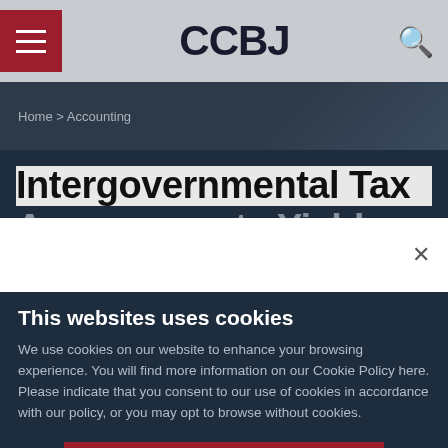CCBJ
Home > Accounting
Intergovernmental Tax Arrangements Yield Results
This websites uses cookies
We use cookies on our website to enhance your browsing experience. You will find more information on our Cookie Policy here. Please indicate that you consent to our use of cookies in accordance with our policy, or you may opt to browse without cookies.
ACCEPT
Read more or opt-out